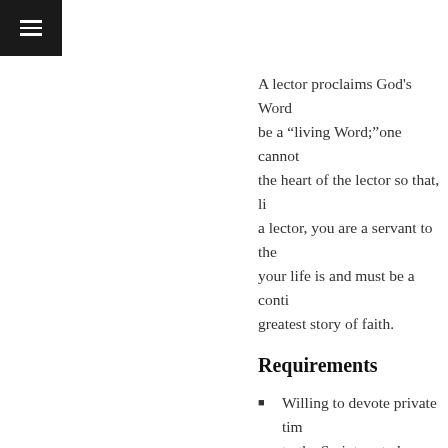menu icon navigation bar
A lector proclaims God's Word... be a "living Word;"one cannot the heart of the lector so that, li a lector, you are a servant to the your life is and must be a conti greatest story of faith.
Requirements
Willing to devote private tim to the Scripture to be read or the Scriptures.
Tries each day to lead a Chri what is read to the assembly.
Can effectively maintain goo
Able to proclaim the Word...